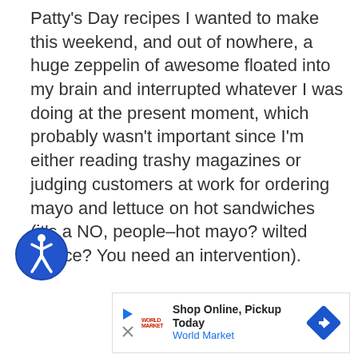Patty's Day recipes I wanted to make this weekend, and out of nowhere, a huge zeppelin of awesome floated into my brain and interrupted whatever I was doing at the present moment, which probably wasn't important since I'm either reading trashy magazines or judging customers at work for ordering mayo and lettuce on hot sandwiches (it's a NO, people–hot mayo? wilted lettuce? You need an intervention).
[Figure (illustration): Blue circle accessibility icon with white wheelchair/person figure inside]
[Figure (screenshot): Advertisement banner: Shop Online, Pickup Today - World Market with navigation arrow diamond icon]